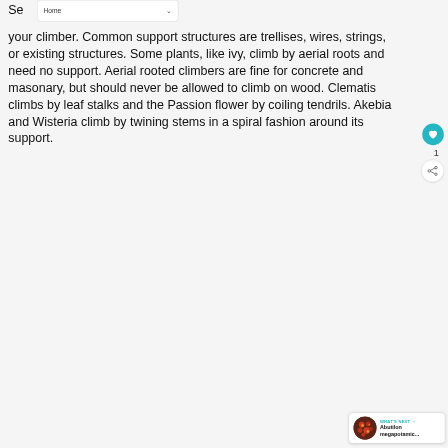Home
your climber. Common support structures are trellises, wires, strings, or existing structures. Some plants, like ivy, climb by aerial roots and need no support. Aerial rooted climbers are fine for concrete and masonary, but should never be allowed to climb on wood. Clematis climbs by leaf stalks and the Passion flower by coiling tendrils. Akebia and Wisteria climb by twining stems in a spiral fashion around its support.
[Figure (other): Heart/like button (teal circle with heart icon) with count 1, and share button below]
[Figure (other): What's Next card showing Abutilon megapotamic... with circular flower image]